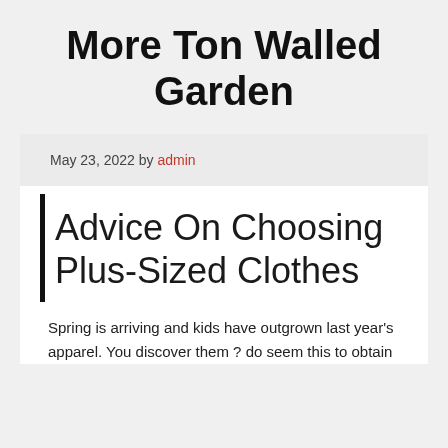More Ton Walled Garden
May 23, 2022 by admin
Advice On Choosing Plus-Sized Clothes
Spring is arriving and kids have outgrown last year's apparel. You discover them ? do seem this to obtain